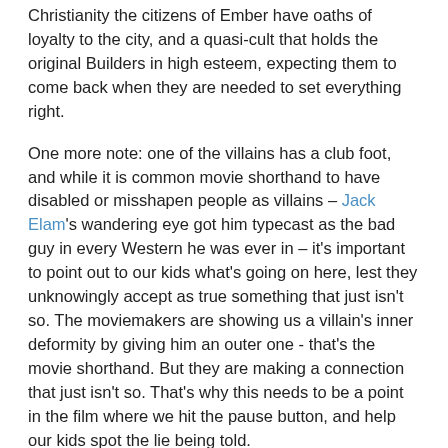Christianity the citizens of Ember have oaths of loyalty to the city, and a quasi-cult that holds the original Builders in high esteem, expecting them to come back when they are needed to set everything right.
One more note: one of the villains has a club foot, and while it is common movie shorthand to have disabled or misshapen people as villains – Jack Elam's wandering eye got him typecast as the bad guy in every Western he was ever in – it's important to point out to our kids what's going on here, lest they unknowingly accept as true something that just isn't so. The moviemakers are showing us a villain's inner deformity by giving him an outer one - that's the movie shorthand. But they are making a connection that just isn't so. That's why this needs to be a point in the film where we hit the pause button, and help our kids spot the lie being told.
CONCLUSION
This is another film by Walden Media, the folks behind the Narnia films, and the owner of the company, Philip Anschutz is a professing Christian who has stated the intent of the